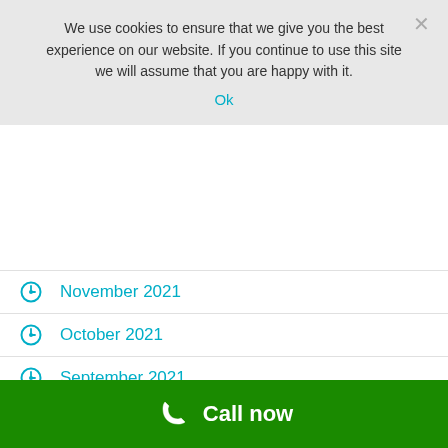We use cookies to ensure that we give you the best experience on our website. If you continue to use this site we will assume that you are happy with it.
Ok
November 2021
October 2021
September 2021
August 2021
July 2021
May 2021
April 2021
March 2021
February 2021
Call now